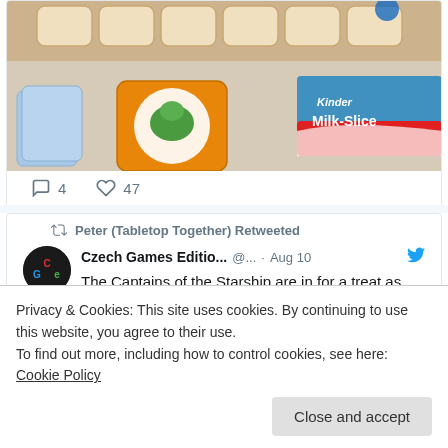[Figure (photo): Photo of board game tiles and cards with a Kinder Milk-Slice chocolate bar on a table]
4  47
Peter (Tabletop Together) Retweeted
Czech Games Editio... @... · Aug 10
The Captains of the Starship are in for a treat as well!
We have an overview from one Gen Con
Privacy & Cookies: This site uses cookies. By continuing to use this website, you agree to their use.
To find out more, including how to control cookies, see here: Cookie Policy
Close and accept